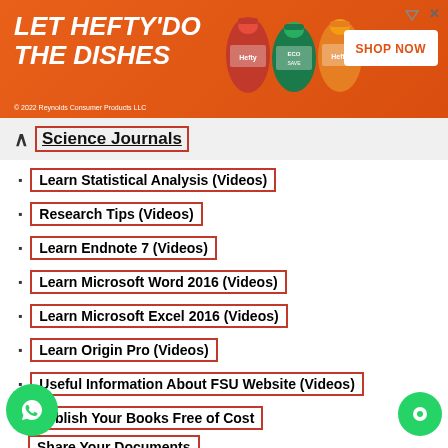[Figure (other): Orange advertisement banner for Hefty dish soap with text 'LET HEFTY DO THE DISHES', product images, and SHOP NOW button. © 2022 Reynolds Consumer Products LLC]
Science Journals
Learn Statistical Analysis (Videos)
Research Tips (Videos)
Learn Endnote 7 (Videos)
Learn Microsoft Word 2016 (Videos)
Learn Microsoft Excel 2016 (Videos)
Learn Origin Pro (Videos)
Useful Information About FSU Website (Videos)
Publish Your Books Free of Cost
Share Your Documents